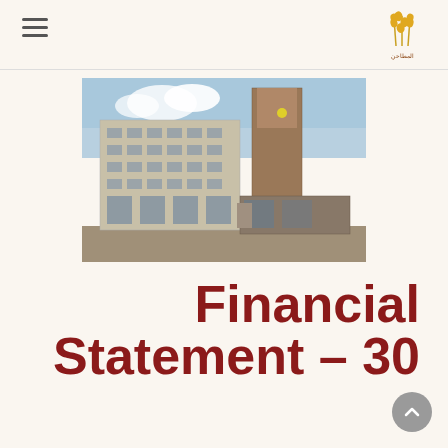[Figure (logo): Al-Mataheen wheat/grain company logo with Arabic text, wheat stalk icon in gold/orange]
[Figure (photo): Photograph of a large industrial flour mill or grain processing facility with a multi-storey concrete building and tall cylindrical silo tower, taken from ground level in a courtyard area]
Financial Statement – 30